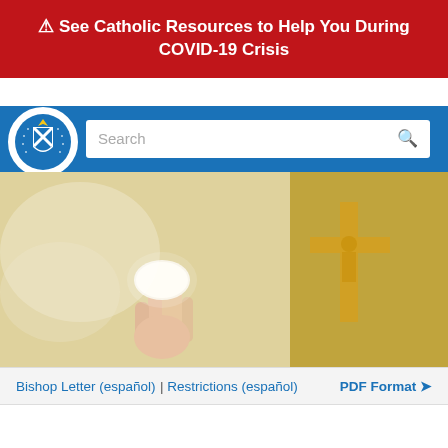⚠ See Catholic Resources to Help You During COVID-19 Crisis
[Figure (logo): Diocese of Little Rock circular seal/logo in white circle]
[Figure (photo): Close-up photo of a hand holding a communion host (Eucharist), with a golden crucifix blurred in the background]
Bishop Letter (español) | Restrictions (español)
PDF Format ❯
OFFICIAL WEBSITE OF THE